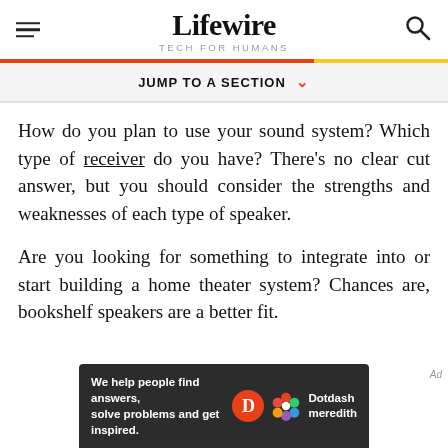Lifewire TECH FOR HUMANS
JUMP TO A SECTION
How do you plan to use your sound system? Which type of receiver do you have? There's no clear cut answer, but you should consider the strengths and weaknesses of each type of speaker.
Are you looking for something to integrate into or start building a home theater system? Chances are, bookshelf speakers are a better fit.
[Figure (other): Dotdash Meredith advertisement banner: 'We help people find answers, solve problems and get inspired.']